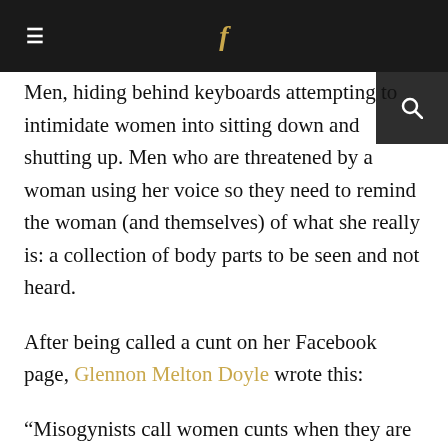≡  f  🔍
Men, hiding behind keyboards attempting to intimidate women into sitting down and shutting up. Men who are threatened by a woman using her voice so they need to remind the woman (and themselves) of what she really is: a collection of body parts to be seen and not heard.
After being called a cunt on her Facebook page, Glennon Melton Doyle wrote this:
“Misogynists call women cunts when they are trying to instill fear, trying to put us back in our place, trying to remind us that what our identity boils down to is: our